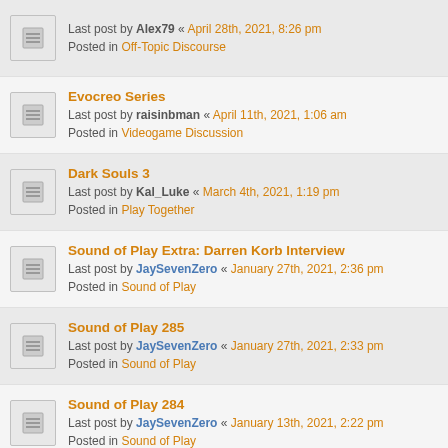Last post by Alex79 « April 28th, 2021, 8:26 pm
Posted in Off-Topic Discourse
Evocreo Series
Last post by raisinbman « April 11th, 2021, 1:06 am
Posted in Videogame Discussion
Dark Souls 3
Last post by Kal_Luke « March 4th, 2021, 1:19 pm
Posted in Play Together
Sound of Play Extra: Darren Korb Interview
Last post by JaySevenZero « January 27th, 2021, 2:36 pm
Posted in Sound of Play
Sound of Play 285
Last post by JaySevenZero « January 27th, 2021, 2:33 pm
Posted in Sound of Play
Sound of Play 284
Last post by JaySevenZero « January 13th, 2021, 2:22 pm
Posted in Sound of Play
Sound of Play 281
Last post by JaySevenZero « December 30th, 2020, 11:56 am
Posted in Sound of Play